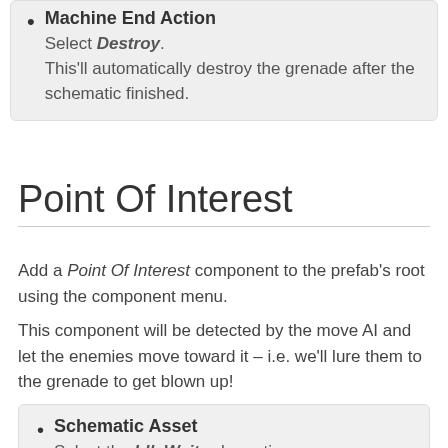Machine End Action
Select Destroy.
This'll automatically destroy the grenade after the schematic finished.
Point Of Interest
Add a Point Of Interest component to the prefab's root using the component menu.
This component will be detected by the move AI and let the enemies move toward it – i.e. we'll lure them to the grenade to get blown up!
Schematic Asset
Select the IdleWait schematic.